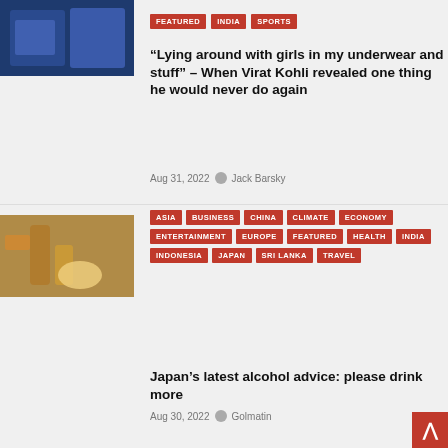[Figure (photo): Cricket players in blue jerseys]
FEATURED
INDIA
SPORTS
“Lying around with girls in my underwear and stuff” – When Virat Kohli revealed one thing he would never do again
Aug 31, 2022   Jack Barsky
[Figure (photo): Person pouring beer at a tap]
ASIA
BUSINESS
CHINA
CLIMATE
ECONOMY
ENTERTAINMENT
EUROPE
FEATURED
HEALTH
INDIA
INDONESIA
JAPAN
SRI LANKA
TRAVEL
Japan’s latest alcohol advice: please drink more
Aug 30, 2022   Golmatin